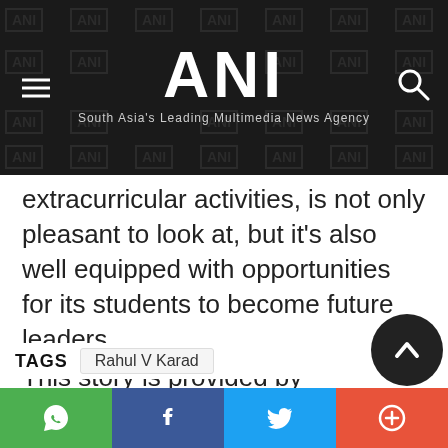ANI — South Asia's Leading Multimedia News Agency
extracurricular activities, is not only pleasant to look at, but it's also well equipped with opportunities for its students to become future leaders.
This story is provided by BusinessWire India. ANI will not be responsible in any way for the content of this article. (ANI/BusinessWire India)
TAGS   Rahul V Karad